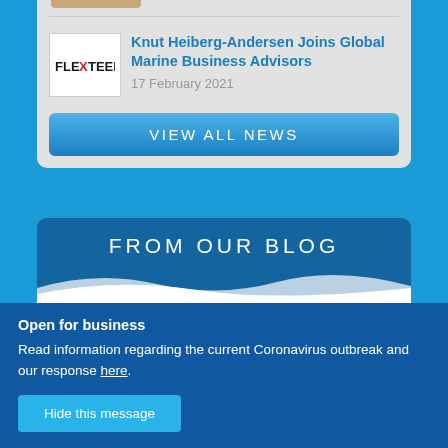[Figure (logo): Flexteek company logo — white box with FLEXTEEK text, X in red]
Knut Heiberg-Andersen Joins Global Marine Business Advisors
17 February 2021
VIEW ALL NEWS
FROM OUR BLOG
[Figure (photo): Small thumbnail photo for blog post]
Spotlight on... Georgina Marshall, Sales
Open for business
Read information regarding the current Coronavirus outbreak and our response here.
Hide this message